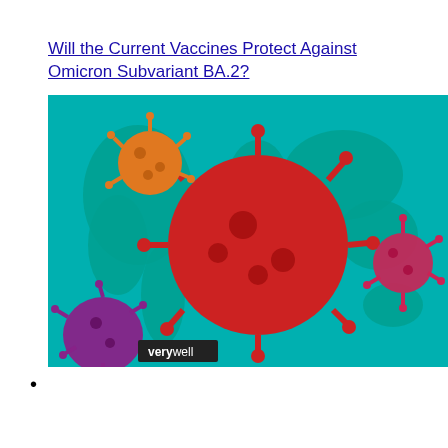Will the Current Vaccines Protect Against Omicron Subvariant BA.2?
[Figure (illustration): Illustration of colorful coronavirus particles (red, orange, pink/purple) floating over a world map on a teal/turquoise background. A 'verywell' logo watermark appears in the lower left corner of the image.]